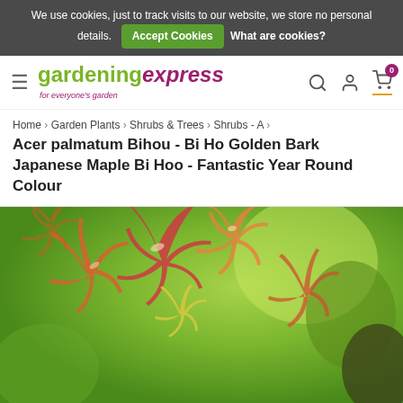We use cookies, just to track visits to our website, we store no personal details. Accept Cookies  What are cookies?
[Figure (logo): Gardening Express logo with hamburger menu, search, account and cart icons]
Home > Garden Plants > Shrubs & Trees > Shrubs - A >
Acer palmatum Bihou - Bi Ho Golden Bark Japanese Maple Bi Hoo - Fantastic Year Round Colour
[Figure (photo): Close-up photo of Japanese Maple (Acer palmatum Bihou) leaves with red, orange and yellow-green foliage against a blurred green background]